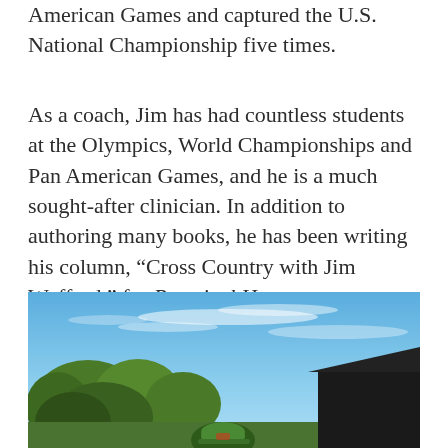American Games and captured the U.S. National Championship five times.
As a coach, Jim has had countless students at the Olympics, World Championships and Pan American Games, and he is a much sought-after clinician. In addition to authoring many books, he has been writing his column, “Cross Country with Jim Wofford,” for Practical Horseman magazine for more than 13 years.
[Figure (photo): Outdoor photo showing a person wearing a green cap in the foreground, with trees and a blue sky with wispy clouds in the background, and a dark barn or building structure on the right side.]